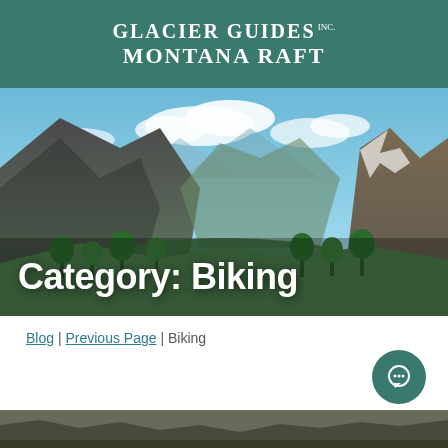Glacier Guides Inc. Montana Raft
[Figure (photo): Mountain valley landscape with rocky peaks, green forest, and blue sky with clouds forming the hero banner image for Glacier Guides Montana Raft website biking category page]
Category: Biking
Blog | Previous Page | Biking
[Figure (photo): Partial bottom strip photo, partially visible at bottom of page]